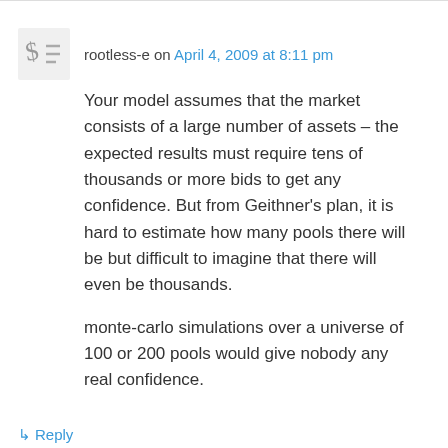rootless-e on April 4, 2009 at 8:11 pm
Your model assumes that the market consists of a large number of assets – the expected results must require tens of thousands or more bids to get any confidence. But from Geithner's plan, it is hard to estimate how many pools there will be but difficult to imagine that there will even be thousands.
monte-carlo simulations over a universe of 100 or 200 pools would give nobody any real confidence.
↳ Reply